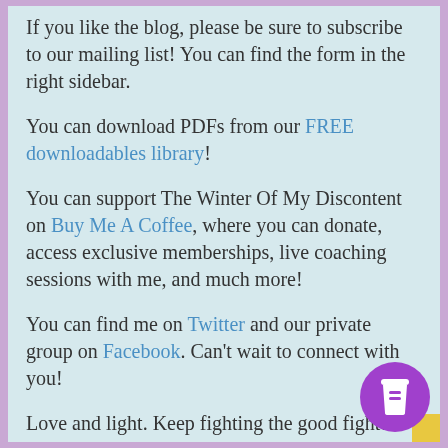If you like the blog, please be sure to subscribe to our mailing list! You can find the form in the right sidebar.
You can download PDFs from our FREE downloadables library!

You can support The Winter Of My Discontent on Buy Me A Coffee, where you can donate, access exclusive memberships, live coaching sessions with me, and much more!
You can find me on Twitter and our private group on Facebook. Can't wait to connect with you!
Love and light. Keep fighting the good fight!